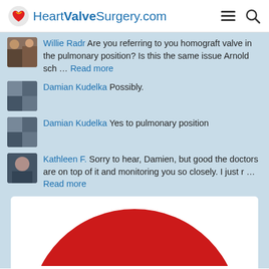HeartValveSurgery.com
Willie Radr Are you referring to you homograft valve in the pulmonary position? Is this the same issue Arnold sch ... Read more
Damian Kudelka  Possibly.
Damian Kudelka  Yes to pulmonary position
Kathleen F.  Sorry to hear, Damien, but good the doctors are on top of it and monitoring you so closely. I just r ... Read more
[Figure (illustration): Large red circle on white background, partially cropped at bottom]